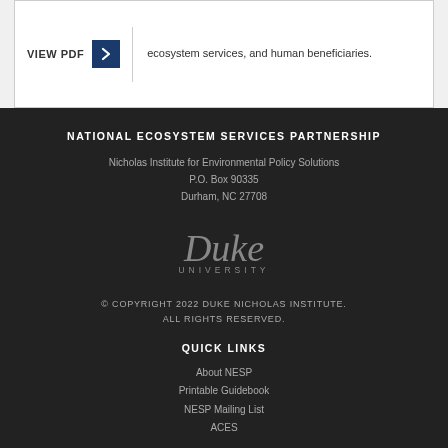VIEW PDF
ecosystem services, and human beneficiaries.
NATIONAL ECOSYSTEM SERVICES PARTNERSHIP
Nicholas Institute for Environmental Policy Solutions
P.O. Box 90335
Durham, NC 27708
[Figure (logo): Duke University logo in gray on dark background]
© COPYRIGHT 2022 DUKE NICHOLAS INSTITUTE. ALL RIGHTS RESERVED.
QUICK LINKS
About NESP
Printable Guidebook
NESP Mailing List
ACES